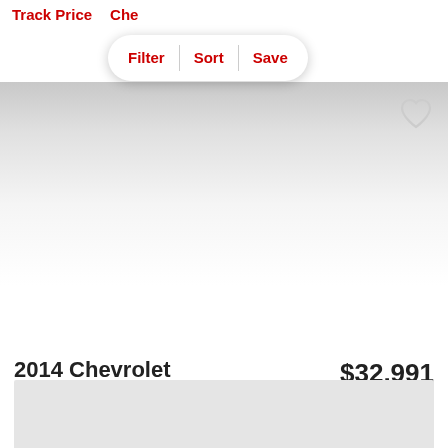Track Price  Che
[Figure (screenshot): Filter, Sort, Save toolbar buttons in a pill/capsule shaped container with rounded corners and drop shadow]
[Figure (photo): Large vehicle image area showing gradient from gray to white, with a heart/favorite icon in the upper right corner]
2014 Chevrolet Silverado 2500HD LT
$32,991
est. $476/mo